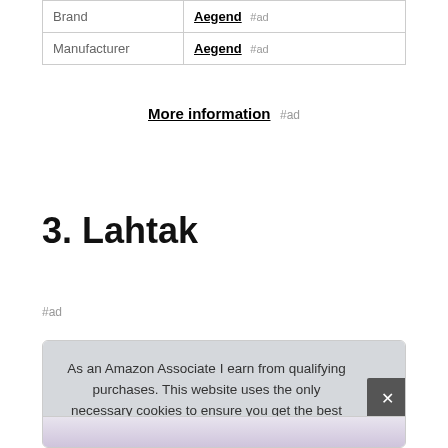| Brand | Aegend #ad |
| Manufacturer | Aegend #ad |
More information #ad
3. Lahtak
#ad
As an Amazon Associate I earn from qualifying purchases. This website uses the only necessary cookies to ensure you get the best experience on our website. More information